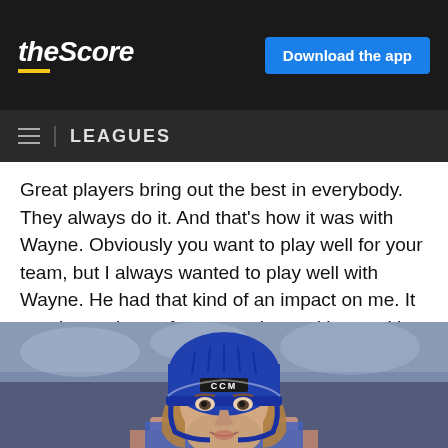theScore | Download the app | LEAGUES
Great players bring out the best in everybody. They always do it. And that's how it was with Wayne. Obviously you want to play well for your team, but I always wanted to play well with Wayne. He had that kind of an impact on me. It was just a dream for me to play and hang with Wayne.
[Figure (photo): Close-up photo of a hockey player wearing a blue CCM helmet, with medium-length hair, looking forward, blurred arena background]